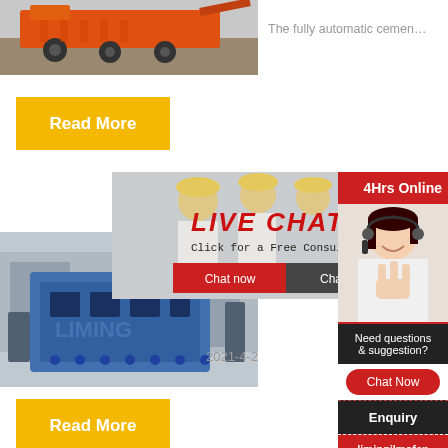[Figure (photo): Orange heavy machinery / screening plant on a construction site]
The fully automatic cemen…
Read More
[Figure (photo): Blue industrial crusher machine with LIMING branding]
[Figure (infographic): Live Chat popup with construction workers in background, LIVE CHAT header in red italic, 'Click for a Free Consultation' subtitle, Chat now and Chat later buttons]
2021-4-2
Read More
[Figure (infographic): Right sidebar: 24Hrs Online header, customer service agent photo with headset, Need questions & suggestion? Chat Now button, Enquiry link, limingjlmofen link]